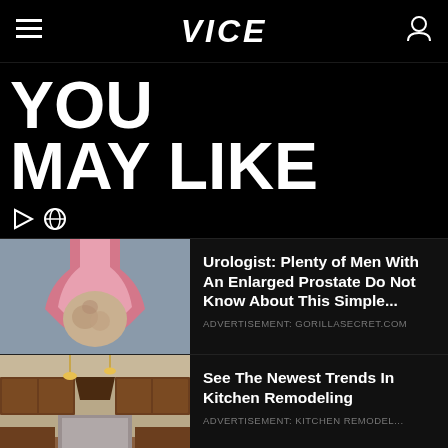VICE
YOU MAY LIKE
[Figure (screenshot): Medical illustration of enlarged prostate gland]
Urologist: Plenty of Men With An Enlarged Prostate Do Not Know About This Simple...
ADVERTISEMENT: GORILLASECRET.COM
[Figure (photo): Photo of a kitchen with dark wood cabinets and pendant lights]
See The Newest Trends In Kitchen Remodeling
ADVERTISEMENT: KITCHEN REMODEL...